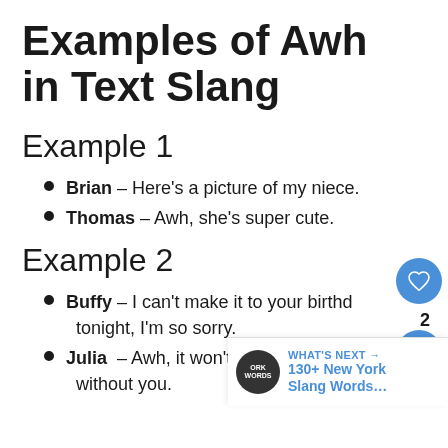Examples of Awh in Text Slang
Example 1
Brian – Here's a picture of my niece.
Thomas – Awh, she's super cute.
Example 2
Buffy – I can't make it to your birthday tonight, I'm so sorry.
Julia – Awh, it won't be the same without you.